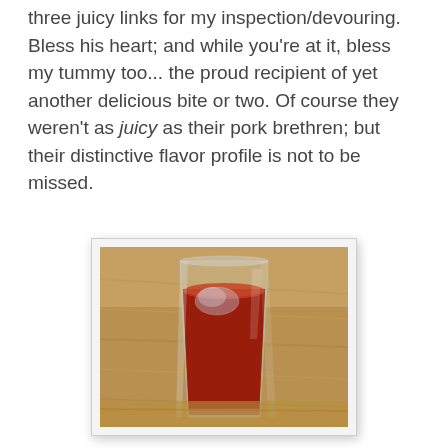three juicy links for my inspection/devouring. Bless his heart; and while you're at it, bless my tummy too... the proud recipient of yet another delicious bite or two. Of course they weren't as juicy as their pork brethren; but their distinctive flavor profile is not to be missed.
[Figure (photo): A tall clear glass filled with dark red tomato juice or similar red liquid, sitting on a wooden table surface. The glass has a slightly tapered shape, wider at the top.]